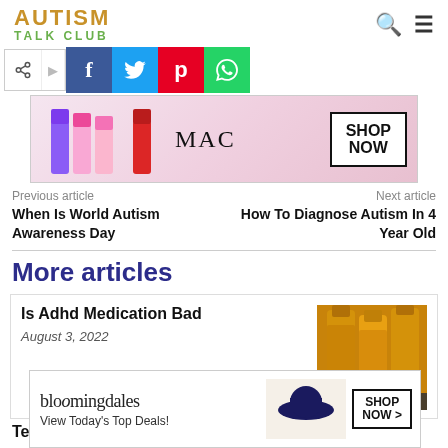AUTISM TALK CLUB
[Figure (screenshot): Social share buttons: share icon, arrow, Facebook, Twitter, Pinterest, WhatsApp]
[Figure (photo): MAC cosmetics advertisement banner showing lipsticks with SHOP NOW button]
Previous article
Next article
When Is World Autism Awareness Day
How To Diagnose Autism In 4 Year Old
More articles
Is Adhd Medication Bad
August 3, 2022
[Figure (photo): Thumbnail image of orange/amber medicine bottles]
[Figure (screenshot): Bloomingdales advertisement: View Today's Top Deals! SHOP NOW >]
Tes